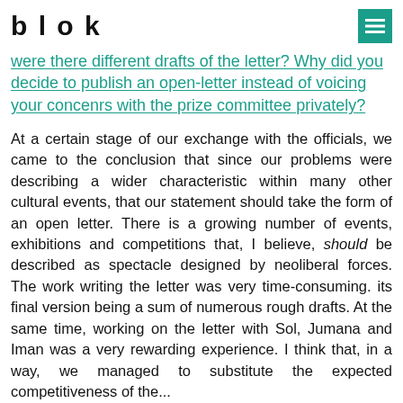blok
were there different drafts of the letter? Why did you decide to publish an open-letter instead of voicing your concenrs with the prize committee privately?
At a certain stage of our exchange with the officials, we came to the conclusion that since our problems were describing a wider characteristic within many other cultural events, that our statement should take the form of an open letter. There is a growing number of events, exhibitions and competitions that, I believe, should be described as spectacle designed by neoliberal forces. The work writing the letter was very time-consuming. its final version being a sum of numerous rough drafts. At the same time, working on the letter with Sol, Jumana and Iman was a very rewarding experience. I think that, in a way, we managed to substitute the expected competitiveness of the...